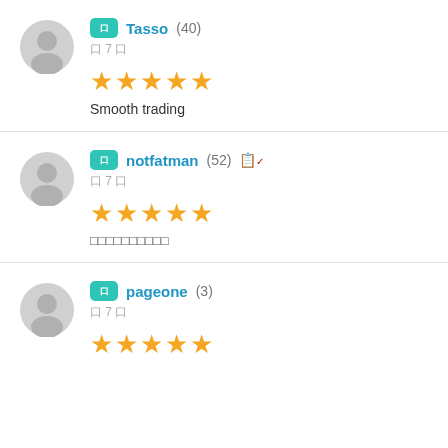Tasso (40)
7
★★★★★
Smooth trading
notfatman (52)
7
★★★★★
□□□□□□□□□□
pageone (3)
7
★★★★★